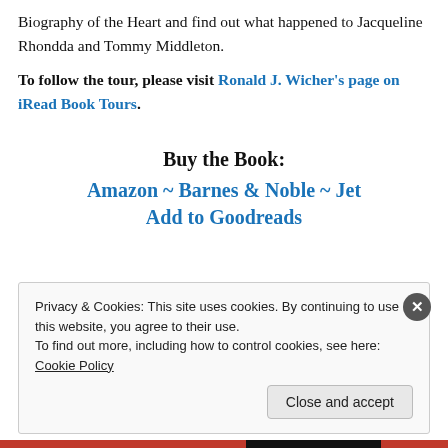Biography of the Heart and find out what happened to Jacqueline Rhondda and Tommy Middleton.
To follow the tour, please visit Ronald J. Wicher's page on iRead Book Tours.
Buy the Book:
Amazon ~ Barnes & Noble ~ Jet
Add to Goodreads
Privacy & Cookies: This site uses cookies. By continuing to use this website, you agree to their use. To find out more, including how to control cookies, see here: Cookie Policy